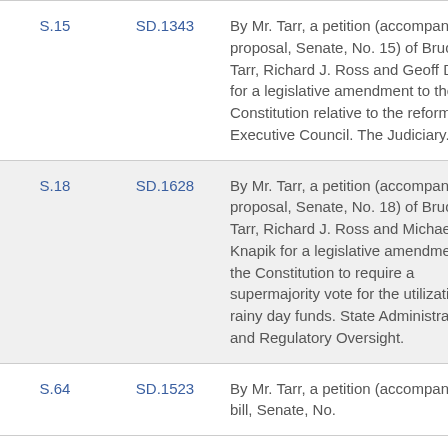| Bill | SD | Description |
| --- | --- | --- |
| S.15 | SD.1343 | By Mr. Tarr, a petition (accompanied by proposal, Senate, No. 15) of Bruce E. Tarr, Richard J. Ross and Geoff Diehl for a legislative amendment to the Constitution relative to the reform of the Executive Council. The Judiciary. |
| S.18 | SD.1628 | By Mr. Tarr, a petition (accompanied by proposal, Senate, No. 18) of Bruce E. Tarr, Richard J. Ross and Michael R. Knapik for a legislative amendment to the Constitution to require a supermajority vote for the utilization of rainy day funds. State Administration and Regulatory Oversight. |
| S.64 | SD.1523 | By Mr. Tarr, a petition (accompanied by bill, Senate, No. |